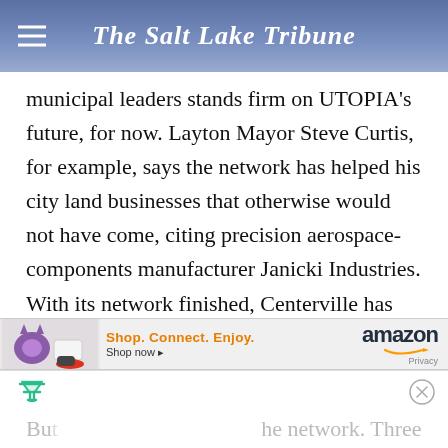The Salt Lake Tribune
municipal leaders stands firm on UTOPIA's future, for now. Layton Mayor Steve Curtis, for example, says the network has helped his city land businesses that otherwise would not have come, citing precision aerospace-components manufacturer Janicki Industries. With its network finished, Centerville has entertained building a high-tech business park nourished by UTOPIA bandwidth.
[Figure (screenshot): Amazon advertisement banner: product images on left, 'Shop. Connect. Enjoy.' tagline in orange, 'Shop now' link, Amazon logo with smile, Privacy text]
Bu he network. Three cities —Perry, Tremonton and